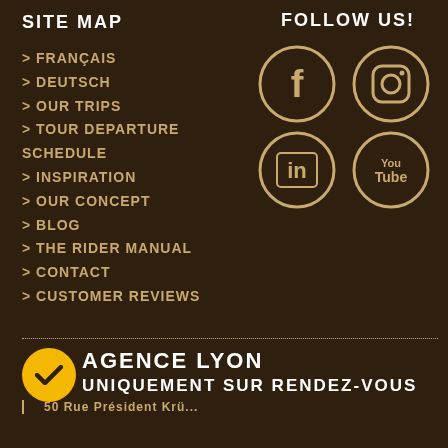SITE MAP
> FRANÇAIS
> DEUTSCH
> OUR TRIPS
> TOUR DEPARTURE SCHEDULE
> INSPIRATION
> OUR CONCEPT
> BLOG
> THE RIDER MANUAL
> CONTACT
> CUSTOMER REVIEWS
FOLLOW US!
[Figure (illustration): Four social media icons in circular frames: Facebook, Instagram, LinkedIn, YouTube]
AGENCE LYON
UNIQUEMENT SUR RENDEZ-VOUS
50 Rue Président Krü...